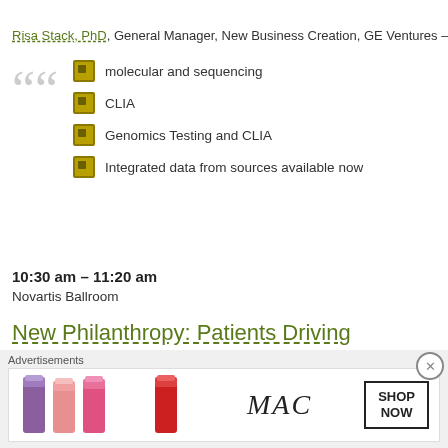Risa Stack, PhD, General Manager, New Business Creation, GE Ventures – e
molecular and sequencing
CLIA
Genomics Testing and CLIA
Integrated data from sources available now
10:30 am – 11:20 am
Novartis Ballroom
New Philanthropy: Patients Driving Innovation
Philanthropy's role in driving improved cancer care has evolved rapidly over th Disease foundations have become active in nearly every phase of the care sp supporting innovations in the lab, clinic, patient engagement, and regulatory a others. Senior philanthropic leaders will describe how the foundation com
Advertisements